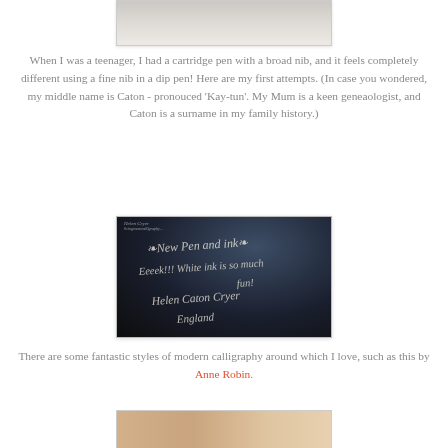[Figure (photo): Top portion of a photo, cropped at top — appears to show a mug or cup object, light beige/cream tones]
When I was a teenager, I had a cartridge pen with a broad nib, and it feels completely different using a fine nib in a dip pen! Here are my first attempts. (In case you wondered, my middle name is Caton - pronouced 'Kay-tun'. My Mum is a keen geneaologist, and Caton is a surname in my family history.)
[Figure (photo): A dark black envelope or card with white calligraphy writing that reads: New Pen and ink, Eeeek!!! White ink is so much fun!, Helen Caton Cryer, England. A watermark reading 'Helen Cryer' appears in the top left corner.]
There are some fantastic styles of modern calligraphy around which I love, such as this by Anne Robin.
[Figure (photo): Bottom portion of another photo, partially visible, warm peachy/tan tones suggesting calligraphy or craft work]